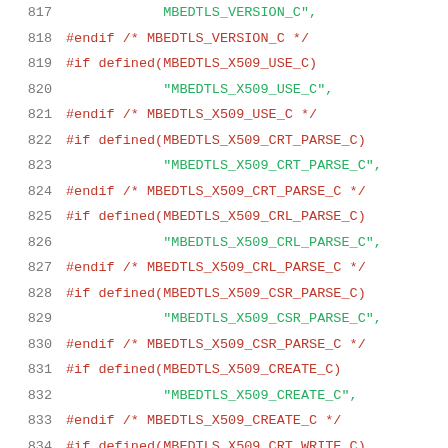[Figure (screenshot): Source code listing showing C preprocessor directives (#if defined, #endif) and string literals for mbed TLS module names (X509 variants), lines 817-838, with line numbers in gray, preprocessor keywords in red, and string literals in green.]